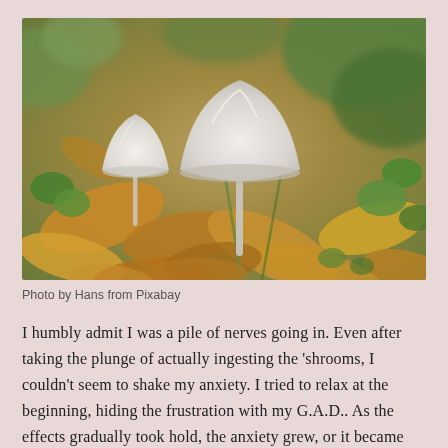[Figure (photo): Close-up photograph of two small white mushrooms with conical caps growing among autumn fallen leaves (orange, brown, yellow) and green clover-like foliage on the forest floor. The mushrooms are slender with pale white caps, set against a blurred natural background.]
Photo by Hans from Pixabay
I humbly admit I was a pile of nerves going in. Even after taking the plunge of actually ingesting the 'shrooms, I couldn't seem to shake my anxiety. I tried to relax at the beginning, hiding the frustration with my G.A.D.. As the effects gradually took hold, the anxiety grew, or it became harder to ignore rather. My